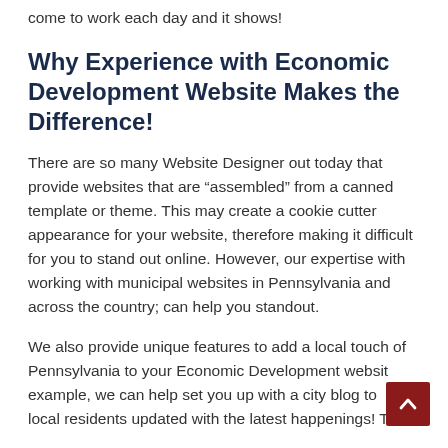come to work each day and it shows!
Why Experience with Economic Development Website Makes the Difference!
There are so many Website Designer out today that provide websites that are “assembled” from a canned template or theme. This may create a cookie cutter appearance for your website, therefore making it difficult for you to stand out online. However, our expertise with working with municipal websites in Pennsylvania and across the country; can help you standout.
We also provide unique features to add a local touch of Pennsylvania to your Economic Development website. For example, we can help set you up with a city blog to keep local residents updated with the latest happenings! This